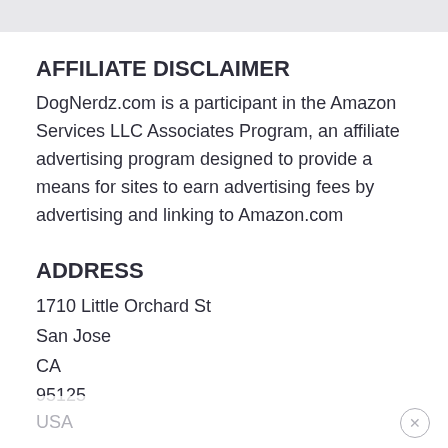AFFILIATE DISCLAIMER
DogNerdz.com is a participant in the Amazon Services LLC Associates Program, an affiliate advertising program designed to provide a means for sites to earn advertising fees by advertising and linking to Amazon.com
ADDRESS
1710 Little Orchard St
San Jose
CA
95125
USA